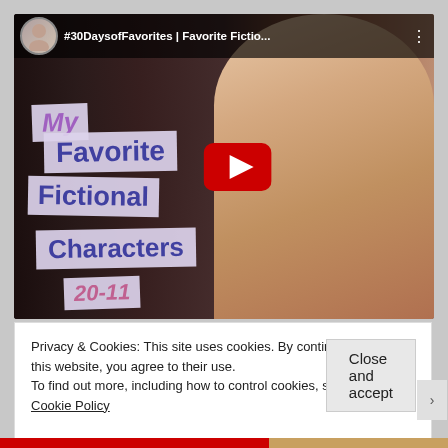[Figure (screenshot): YouTube video thumbnail showing a woman with brown hair smiling, with text overlays reading 'My Favorite Fictional Characters 20-11'. The video title bar shows '#30DaysofFavorites | Favorite Fictio...' with a user avatar.]
Privacy & Cookies: This site uses cookies. By continuing to use this website, you agree to their use.
To find out more, including how to control cookies, see here: Cookie Policy
Close and accept